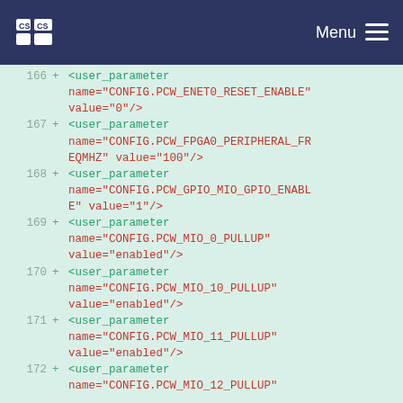Menu
[Figure (screenshot): Code diff view showing XML user_parameter elements for lines 166-172, with green background and line numbers. Lines show CONFIG.PCW parameters for ENET0_RESET_ENABLE, FPGA0_PERIPHERAL_FREQMHZ, GPIO_MIO_GPIO_ENABLE, MIO_0_PULLUP, MIO_10_PULLUP, MIO_11_PULLUP, MIO_12_PULLUP.]